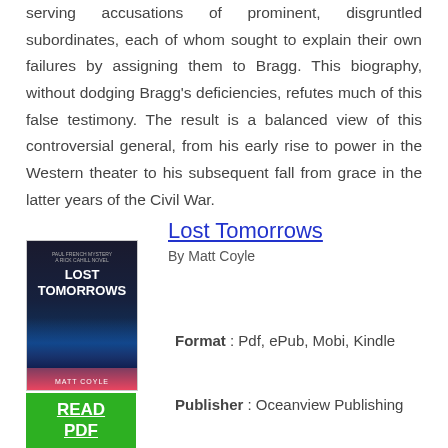serving accusations of prominent, disgruntled subordinates, each of whom sought to explain their own failures by assigning them to Bragg. This biography, without dodging Bragg's deficiencies, refutes much of this false testimony. The result is a balanced view of this controversial general, from his early rise to power in the Western theater to his subsequent fall from grace in the latter years of the Civil War.
Lost Tomorrows
By Matt Coyle
[Figure (illustration): Book cover of 'Lost Tomorrows' by Matt Coyle, showing dark blue/navy tones with city lights at night]
Format : Pdf, ePub, Mobi, Kindle
Publisher : Oceanview Publishing
[Figure (other): Green READ PDF button]